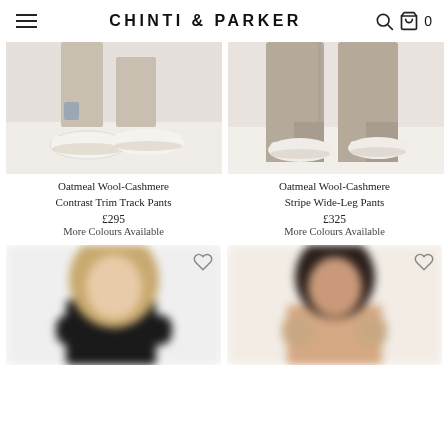CHINTI & PARKER
[Figure (photo): Close-up of feet wearing white sneakers with beige/oatmeal track pants, studio background]
Oatmeal Wool-Cashmere Contrast Trim Track Pants
£295
More Colours Available
[Figure (photo): Close-up of legs wearing oatmeal/beige wide-leg pants with white sneakers, studio background]
Oatmeal Wool-Cashmere Stripe Wide-Leg Pants
£325
More Colours Available
[Figure (photo): Blurred/out-of-focus model with blonde hair wearing dark top, product image below fold]
[Figure (photo): Blurred/out-of-focus model with dark hair wearing light/nude top, product image below fold]